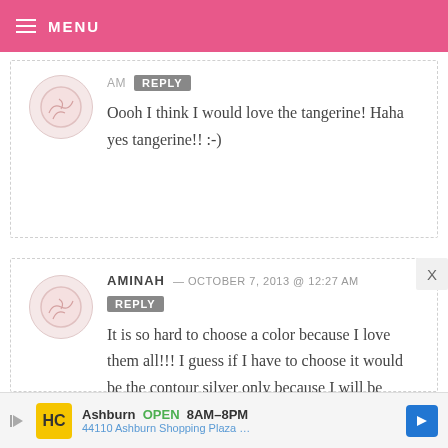MENU
AM  REPLY
Oooh I think I would love the tangerine! Haha yes tangerine!! :-)
AMINAH — OCTOBER 7, 2013 @ 12:27 AM  REPLY
It is so hard to choose a color because I love them all!!! I guess if I have to choose it would be the contour silver only because I will be redoing my kitchen and I have not chosen the
Ashburn  OPEN  8AM–8PM
44110 Ashburn Shopping Plaza …